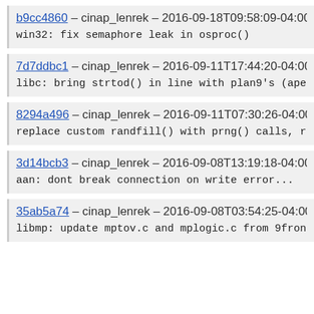b9cc4860 – cinap_lenrek – 2016-09-18T09:58:09-04:00
win32: fix semaphore leak in osproc()
7d7ddbc1 – cinap_lenrek – 2016-09-11T17:44:20-04:00
libc: bring strtod() in line with plan9's (ape) lib
8294a496 – cinap_lenrek – 2016-09-11T07:30:26-04:00
replace custom randfill() with prng() calls, remove
3d14bcb3 – cinap_lenrek – 2016-09-08T13:19:18-04:00
aan: dont break connection on write error...
35ab5a74 – cinap_lenrek – 2016-09-08T03:54:25-04:00
libmp: update mptov.c and mplogic.c from 9front